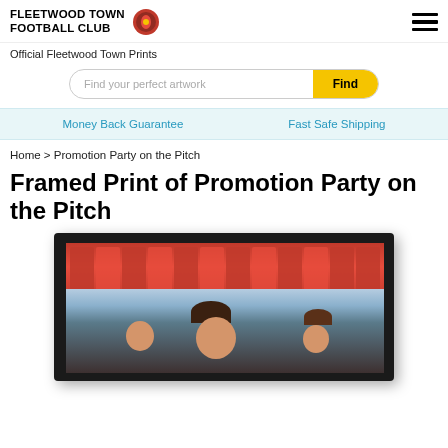FLEETWOOD TOWN FOOTBALL CLUB
Official Fleetwood Town Prints
Find your perfect artwork Find
Money Back Guarantee   Fast Safe Shipping
Home > Promotion Party on the Pitch
Framed Print of Promotion Party on the Pitch
[Figure (photo): A framed print product shot showing a black frame containing a photograph of people at a football stadium, with red stadium seating visible in the background and faces of attendees in the foreground.]